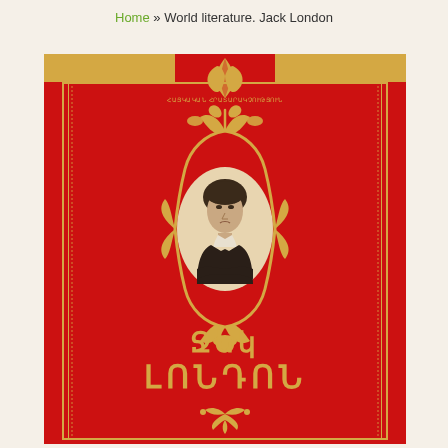Home » World literature. Jack London
[Figure (illustration): Book cover for Jack London in Armenian. Red cover with gold ornamental oval frame containing a portrait photograph of Jack London (young man in dark suit, arms crossed). At the top center is a publisher logo (gold stylized leaf/flame shape) on a red tab with Armenian text. The cover has gold decorative border lines on the sides, and at the bottom large Armenian script text reading Ջեկ ԼՈՆԴՈՆ (Jack London), with a small gold ornamental flourish below the name.]